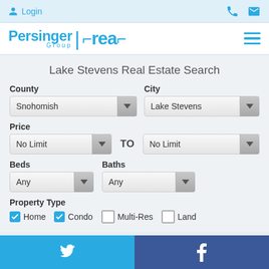Login | Phone | Email icons
[Figure (logo): Persinger Group Real Estate logo with stylized 'real' text in brackets]
Lake Stevens Real Estate Search
County: Snohomish | City: Lake Stevens
Price: No Limit TO No Limit
Beds: Any | Baths: Any
Property Type: Home (checked), Condo (checked), Multi-Res (unchecked), Land (unchecked)
Twitter | Facebook social links